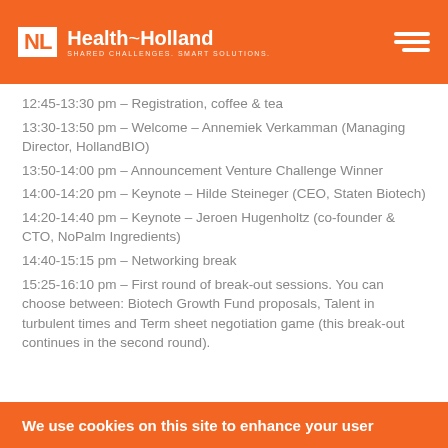NL Health~Holland - SHARED CHALLENGES. SMART SOLUTIONS.
12:45-13:30 pm – Registration, coffee & tea
13:30-13:50 pm – Welcome – Annemiek Verkamman (Managing Director, HollandBIO)
13:50-14:00 pm – Announcement Venture Challenge Winner
14:00-14:20 pm – Keynote – Hilde Steineger (CEO, Staten Biotech)
14:20-14:40 pm – Keynote – Jeroen Hugenholtz (co-founder & CTO, NoPalm Ingredients)
14:40-15:15 pm – Networking break
15:25-16:10 pm – First round of break-out sessions. You can choose between: Biotech Growth Fund proposals, Talent in turbulent times and Term sheet negotiation game (this break-out continues in the second round).
We use cookies on this site to enhance your user